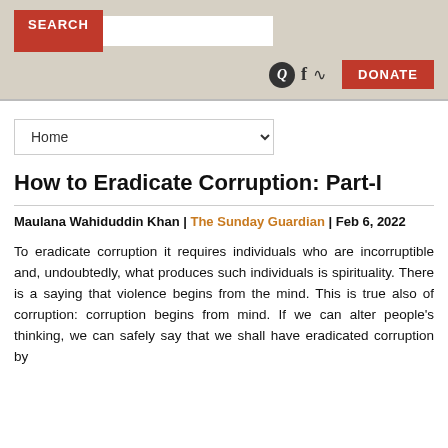SEARCH [input] Q f RSS DONATE
Home ▾
How to Eradicate Corruption: Part-I
Maulana Wahiduddin Khan | The Sunday Guardian | Feb 6, 2022
To eradicate corruption it requires individuals who are incorruptible and, undoubtedly, what produces such individuals is spirituality. There is a saying that violence begins from the mind. This is true also of corruption: corruption begins from mind. If we can alter people's thinking, we can safely say that we shall have eradicated corruption by